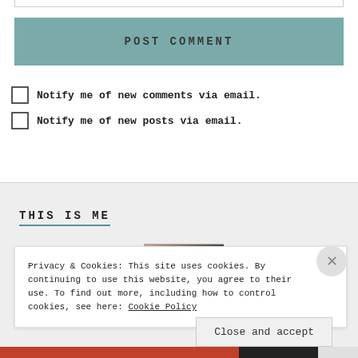[Figure (other): POST COMMENT button with teal/muted green background]
Notify me of new comments via email.
Notify me of new posts via email.
THIS IS ME
[Figure (photo): Partial photo of a person, partially obscured by cookie banner]
Privacy & Cookies: This site uses cookies. By continuing to use this website, you agree to their use. To find out more, including how to control cookies, see here: Cookie Policy
Close and accept